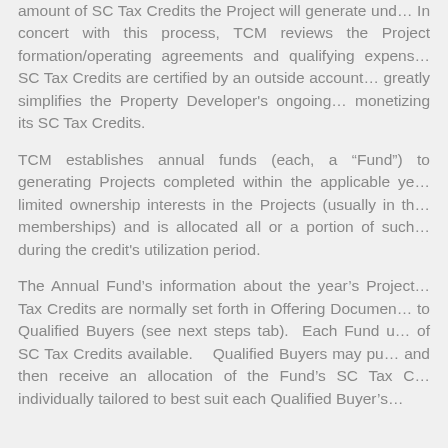amount of SC Tax Credits the Project will generate und... In concert with this process, TCM reviews the Project formation/operating agreements and qualifying expens... SC Tax Credits are certified by an outside account... greatly simplifies the Property Developer's ongoing... monetizing its SC Tax Credits.
TCM establishes annual funds (each, a “Fund”) to... generating Projects completed within the applicable ye... limited ownership interests in the Projects (usually in th... memberships) and is allocated all or a portion of such... during the credit’s utilization period.
The Annual Fund’s information about the year’s Project... Tax Credits are normally set forth in Offering Documen... to Qualified Buyers (see next steps tab). Each Fund u... of SC Tax Credits available. Qualified Buyers may pu... and then receive an allocation of the Fund’s SC Tax C... individually tailored to best suit each Qualified Buyer’s...